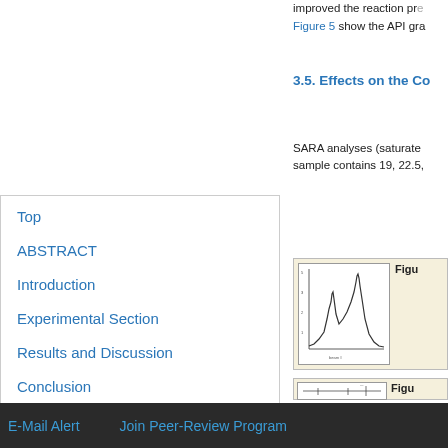improved the reaction pr...
Figure 5 show the API gra...
3.5. Effects on the Co...
SARA analyses (saturate... sample contains 19, 22.5,...
Top
ABSTRACT
Introduction
Experimental Section
Results and Discussion
Conclusion
[Figure (continuous-plot): API gravity or similar spectral/chromatographic plot with a curve showing two peaks]
Figu...
[Figure (other): Partial figure showing a schematic or plot at the bottom of the page]
Figu...
E-Mail Alert    Join Peer-Review Program